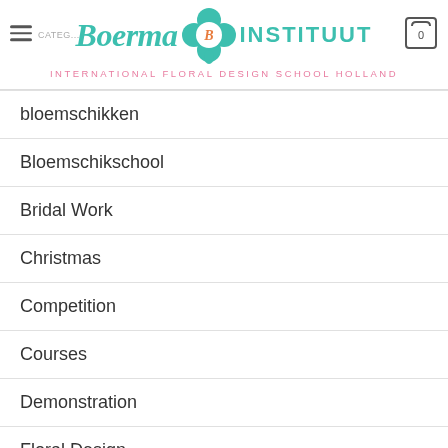Boerma Instituut — International Floral Design School Holland
bloemschikken
Bloemschikschool
Bridal Work
Christmas
Competition
Courses
Demonstration
Floral Design
Flowerschool